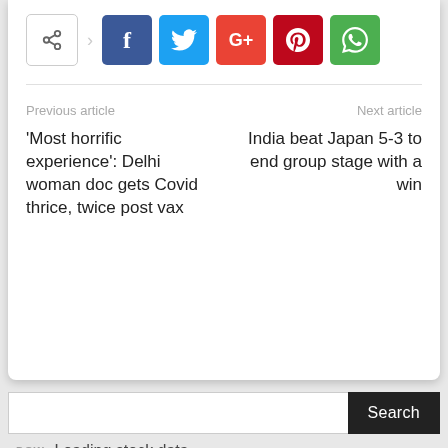[Figure (screenshot): Social share buttons row: a share icon button, then Facebook (blue), Twitter (light blue), Google+ (red-orange), Pinterest (dark red), WhatsApp (green) icon buttons]
Previous article
Next article
'Most horrific experience': Delhi woman doc gets Covid thrice, twice post vax
India beat Japan 5-3 to end group stage with a win
Search
DOW  Loading stock data...